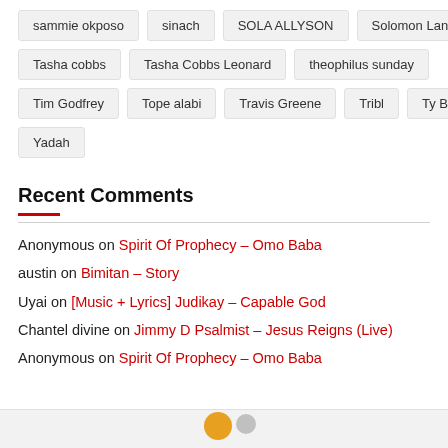sammie okposo
sinach
SOLA ALLYSON
Solomon Lange
Tasha cobbs
Tasha Cobbs Leonard
theophilus sunday
Tim Godfrey
Tope alabi
Travis Greene
Tribl
Ty Bello
Yadah
Recent Comments
Anonymous on Spirit Of Prophecy – Omo Baba
austin on Bimitan – Story
Uyai on [Music + Lyrics] Judikay – Capable God
Chantel divine on Jimmy D Psalmist – Jesus Reigns (Live)
Anonymous on Spirit Of Prophecy – Omo Baba